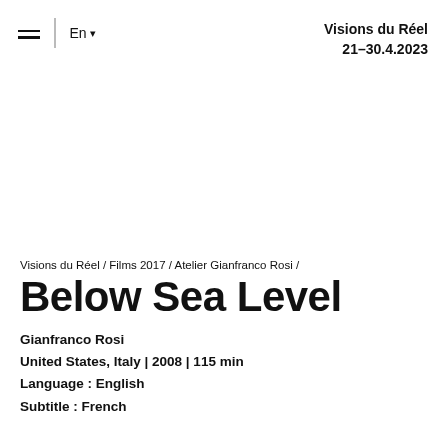≡  En ▾   Visions du Réel 21–30.4.2023
Visions du Réel / Films 2017 / Atelier Gianfranco Rosi /
Below Sea Level
Gianfranco Rosi
United States, Italy | 2008 | 115 min
Language : English
Subtitle : French